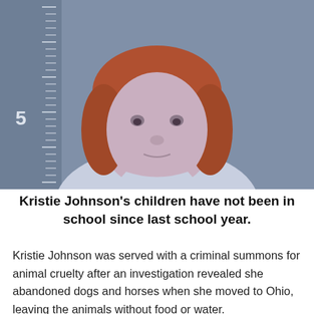[Figure (photo): Mugshot of Kristie Johnson against a blue-grey height chart background. The subject is a heavyset woman with reddish-auburn wavy hair wearing a light blue shirt. A height marker showing '5' is visible on the left side of the background.]
Kristie Johnson's children have not been in school since last school year.
Kristie Johnson was served with a criminal summons for animal cruelty after an investigation revealed she abandoned dogs and horses when she moved to Ohio, leaving the animals without food or water.